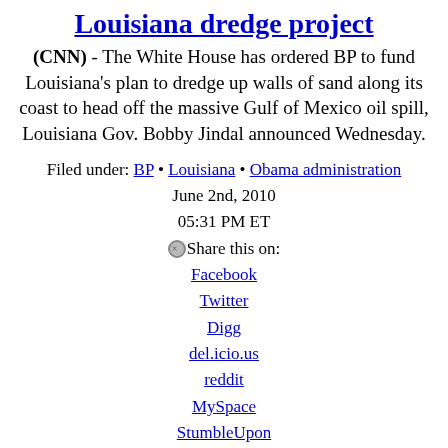Louisiana dredge project
(CNN) - The White House has ordered BP to fund Louisiana's plan to dredge up walls of sand along its coast to head off the massive Gulf of Mexico oil spill, Louisiana Gov. Bobby Jindal announced Wednesday.
Filed under: BP • Louisiana • Obama administration
June 2nd, 2010
05:31 PM ET
Share this on:
Facebook
Twitter
Digg
del.icio.us
reddit
MySpace
StumbleUpon
Comments (67 comments)
12 years ago
Kucinich wants Obama to 'call Israel to